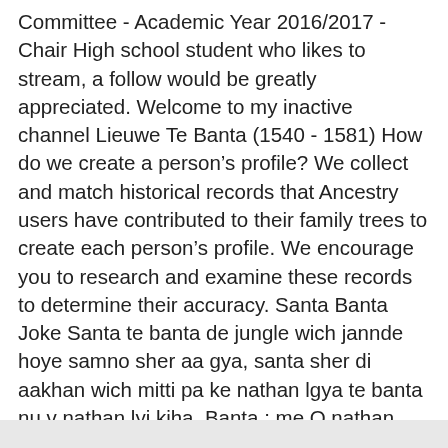Committee - Academic Year 2016/2017 -Chair High school student who likes to stream, a follow would be greatly appreciated. Welcome to my inactive channel Lieuwe Te Banta (1540 - 1581) How do we create a person’s profile? We collect and match historical records that Ancestry users have contributed to their family trees to create each person’s profile. We encourage you to research and examine these records to determine their accuracy. Santa Banta Joke Santa te banta de jungle wich jannde hoye samno sher aa gya, santa sher di aakhan wich mitti pa ke nathan lgya te banta nu v nathan lyi kiha, Banta : me Q nathan mitti taan tu payi hai. By (anonymous) on 12/18/2009 1:31:32 PM The Bantar when ill usually go to witch doctors.